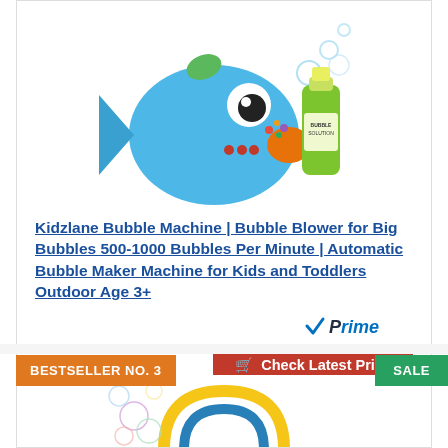[Figure (photo): Blue fish-shaped bubble machine toy next to a green bubble solution bottle]
Kidzlane Bubble Machine | Bubble Blower for Big Bubbles 500-1000 Bubbles Per Minute | Automatic Bubble Maker Machine for Kids and Toddlers Outdoor Age 3+
[Figure (logo): Amazon Prime badge with blue checkmark and italic Prime text]
Check Latest Price
BESTSELLER NO. 3
SALE
[Figure (photo): Yellow and blue bubble toy with rainbow bubbles, partially visible]